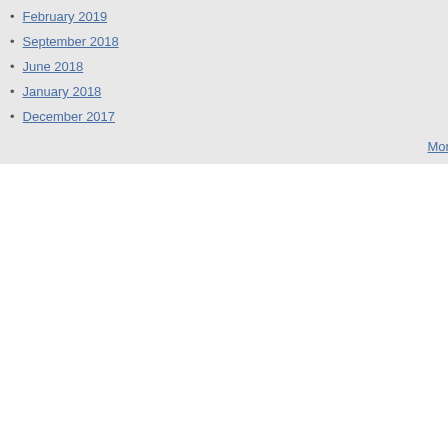February 2019
September 2018
June 2018
January 2018
December 2017
More...
[Figure (illustration): Blue wavy lines abstract avatar icon]
I am teaching at University. Yo... PLEASE, write only when you... papers and documents with ve... It is suppoused University is th... Don't post for the gallery. Post... convert tour knowledge in wisc...
[Figure (illustration): Blue globe/sphere wireframe abstract avatar icon]
given your work on global insti... comment on this week's ECon...
[Figure (illustration): Orange geometric lines abstract avatar icon]
I know of a well-respected 1 ye... reading and thinking. Fellows a... entire year. They take universit... they're not academics....but the... Universities need to give big th... took the initiative :)